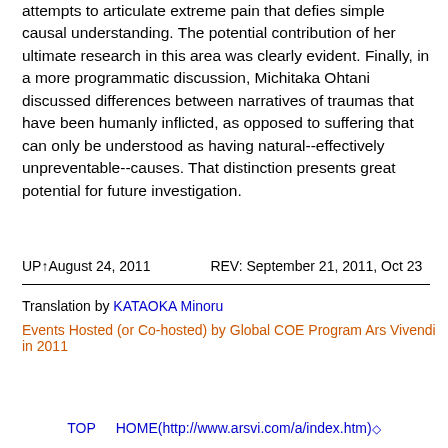attempts to articulate extreme pain that defies simple causal understanding. The potential contribution of her ultimate research in this area was clearly evident. Finally, in a more programmatic discussion, Michitaka Ohtani discussed differences between narratives of traumas that have been humanly inflicted, as opposed to suffering that can only be understood as having natural--effectively unpreventable--causes. That distinction presents great potential for future investigation.
UP↑August 24, 2011    REV: September 21, 2011, Oct 23
Translation by KATAOKA Minoru
Events Hosted (or Co-hosted) by Global COE Program Ars Vivendi in 2011
TOP   HOME(http://www.arsvi.com/a/index.htm)◇